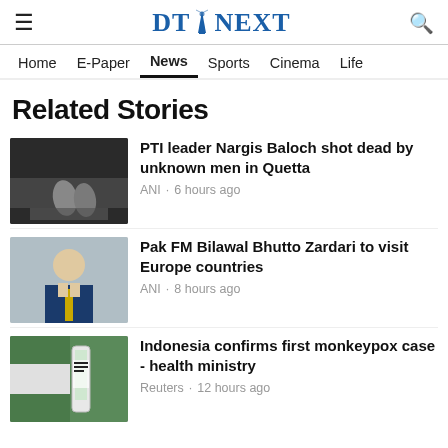DT NEXT
Home  E-Paper  News  Sports  Cinema  Life
Related Stories
[Figure (photo): Dark image showing feet of a deceased person covered with a sheet]
PTI leader Nargis Baloch shot dead by unknown men in Quetta
ANI · 6 hours ago
[Figure (photo): Portrait photo of a man in a blue suit with yellow tie, likely Bilawal Bhutto Zardari]
Pak FM Bilawal Bhutto Zardari to visit Europe countries
ANI · 8 hours ago
[Figure (photo): Close-up of a monkeypox virus test tube/vial with a flag in the background]
Indonesia confirms first monkeypox case - health ministry
Reuters · 12 hours ago